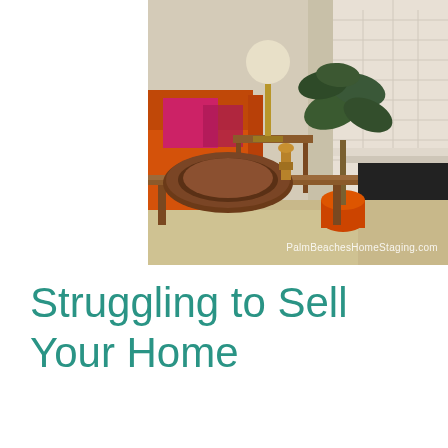[Figure (photo): Mid-century modern living room interior with orange sofa, pink throw pillows, wooden coffee table with decorative tray, tall plant in orange pot, white brick fireplace, and a textured globe lamp. Watermark reads PalmBeachesHomeStaging.com]
Struggling to Sell Your Home
Learn why working with a home staging professional is a good